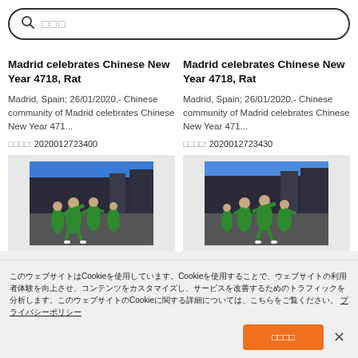[Figure (screenshot): Search bar with magnifying glass icon and placeholder text in Japanese/Chinese characters]
Madrid celebrates Chinese New Year 4718, Rat
Madrid, Spain; 26/01/2020.- Chinese community of Madrid celebrates Chinese New Year 471...
画像番号: 2020012723400
Madrid celebrates Chinese New Year 4718, Rat
Madrid, Spain; 26/01/2020.- Chinese community of Madrid celebrates Chinese New Year 471...
画像番号: 2020012723430
[Figure (photo): Performers in green outfits marching in a parade on a city street, Chinese New Year celebration in Madrid]
[Figure (photo): Performers in green outfits marching in a parade on a city street, Chinese New Year celebration in Madrid]
このウェブサイトはCookieを使用しています。Cookieを使用することで、ウェブサイトの利用者体験を向上させ、コンテンツをカスタマイズし、サービスを改善するためのトラフィックを分析します。このウェブサイトのCookieに関する詳細については、こちらをご覧ください。 プライバシーポリシー